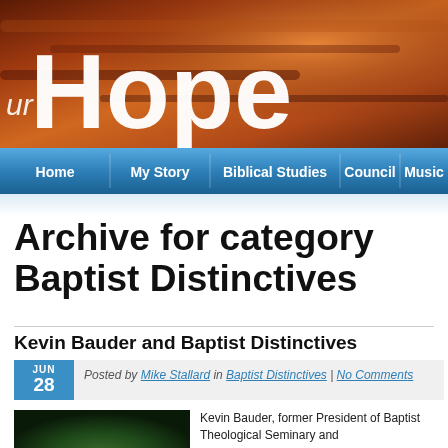[Figure (screenshot): Website banner with dramatic sunset/stormy sky background showing the word 'Hope' in large white bold text with 'ur' in italic before it]
Home | My Story | Biblical Studies | Council | Music
Archive for category Baptist Distinctives
Kevin Bauder and Baptist Distinctives
Posted by Mike Stallard in Baptist Distinctives | No Comments
Kevin Bauder, former President of Baptist Theological Seminary and